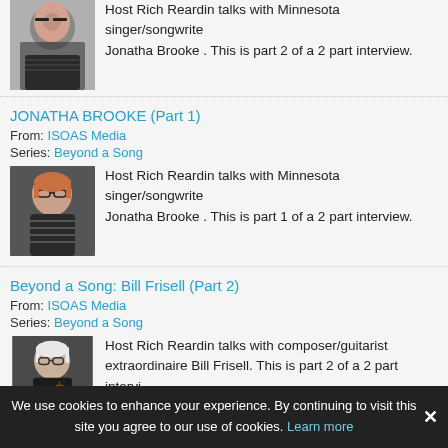[Figure (photo): Partial view of a woman with glasses and dark hair, wearing a patterned top. Photo for Jonatha Brooke Part 2 episode.]
Host Rich Reardin talks with Minnesota singer/songwriter Jonatha Brooke . This is part 2 of a 2 part interview.
JONATHA BROOKE (Part 1)
From: ISOAS Media
Series: Beyond a Song
[Figure (photo): Woman with short reddish hair and glasses, wearing a striped shirt. Photo for Jonatha Brooke Part 1 episode.]
Host Rich Reardin talks with Minnesota singer/songwriter Jonatha Brooke . This is part 1 of a 2 part interview.
Beyond a Song: Bill Frisell (Part 2)
From: ISOAS Media
Series: Beyond a Song
[Figure (photo): Older man with white hair and glasses, holding a guitar. Photo for Bill Frisell Part 2 episode.]
Host Rich Reardin talks with composer/guitarist extraordinaire Bill Frisell. This is part 2 of a 2 part intervi…
We use cookies to enhance your experience. By continuing to visit this site you agree to our use of cookies. Learn more